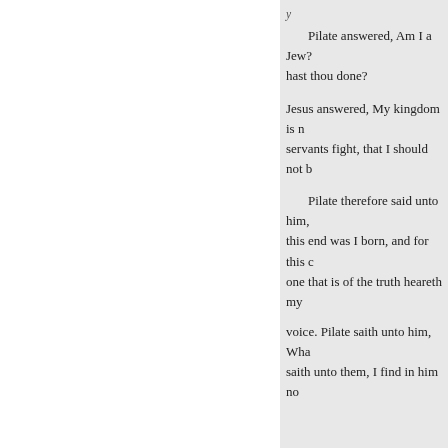Pilate answered, Am I a Jew? hast thou done?
Jesus answered, My kingdom is servants fight, that I should not b
Pilate therefore said unto him, this end was I born, and for this one that is of the truth heareth my
voice. Pilate saith unto him, Wha saith unto them, I find in him no
op the people, teaching througho
When Pilate heard of Galilee, he
And as soon as he knew that he also at Jerusalem at that time.
ANNOTATIONS AND REFL
Although the Jewish rulers had execution; for about two years b punishments; therefore early in t